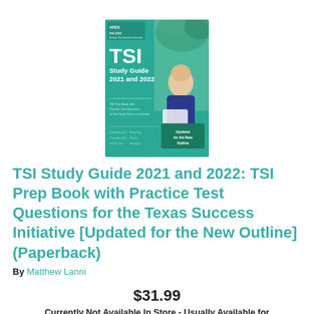[Figure (photo): Book cover for TSI Study Guide 2021 and 2022 by Apex Test Prep, featuring a teal/green background with a photo of a woman studying outdoors, with text TSI Study Guide 2021 and 2022, TSI Prep Book with Practice Test Questions for the Texas Success Initiative, Updated for the New Outline.]
TSI Study Guide 2021 and 2022: TSI Prep Book with Practice Test Questions for the Texas Success Initiative [Updated for the New Outline] (Paperback)
By Matthew Lanni
$31.99
Currently Not Available In Store - Usually Available for